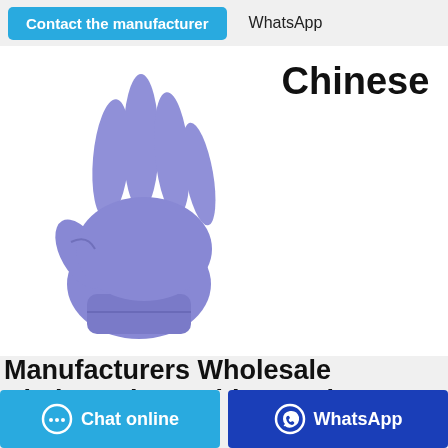Contact the manufacturer   WhatsApp
[Figure (photo): A purple/blue disposable nitrile glove shown with fingers spread upward on a white background]
Chinese
Manufacturers Wholesale Kitchen Disposable PE Gloves
PE Disposable Biodegradable Plastic Food Glove US $0.0009-0.0024 / Box New Products 0.8-1.8g Disposable Plastic PE Folded Glove
Chat online
WhatsApp